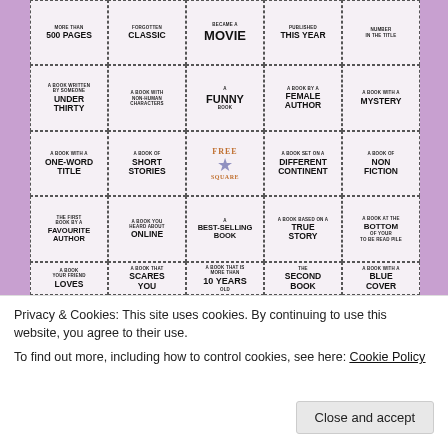[Figure (infographic): Book bingo grid with 5x4 cells showing reading challenge categories. Row 1 (partial/top): MORE THAN 500 PAGES, FORGOTTEN CLASSIC, BECAME A MOVIE, PUBLISHED THIS YEAR, NUMBER IN THE TITLE. Row 2: A BOOK WRITTEN BY SOMEONE UNDER THIRTY, A BOOK WITH NON-HUMAN CHARACTERS, A FUNNY BOOK, A BOOK BY A FEMALE AUTHOR, A BOOK WITH A MYSTERY. Row 3: A BOOK WITH A ONE-WORD TITLE, A BOOK OF SHORT STORIES, FREE SQUARE (center with star), A BOOK SET ON A DIFFERENT CONTINENT, A BOOK OF NON FICTION. Row 4: THE FIRST BOOK BY A FAVOURITE AUTHOR, A BOOK YOU HEARD ABOUT ONLINE, A BEST-SELLING BOOK, A BOOK BASED ON A TRUE STORY, A BOOK AT THE BOTTOM OF YOUR TO BE READ PILE. Row 5 (partial/bottom): A BOOK YOUR FRIEND LOVES, A BOOK THAT SCARES YOU, A BOOK THAT IS MORE THAN 10 YEARS OLD, THE SECOND BOOK..., A BOOK WITH A BLUE COVER.]
Privacy & Cookies: This site uses cookies. By continuing to use this website, you agree to their use.
To find out more, including how to control cookies, see here: Cookie Policy
Close and accept